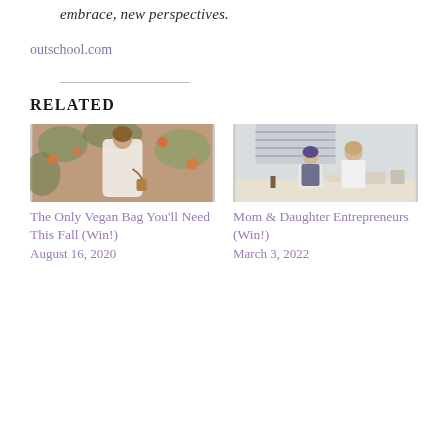embrace, new perspectives.
outschool.com
RELATED
[Figure (photo): Woman in white outfit standing in front of orange flowers]
The Only Vegan Bag You'll Need This Fall (Win!)
August 16, 2020
[Figure (photo): Mom and daughter sitting at kitchen table with craft supplies]
Mom & Daughter Entrepreneurs (Win!)
March 3, 2022